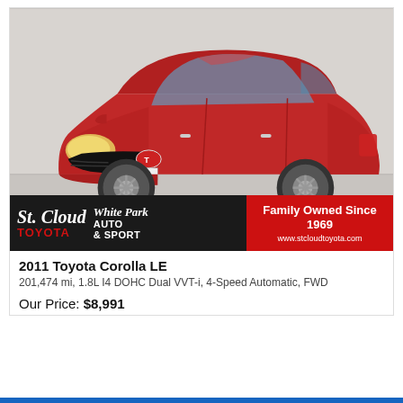[Figure (photo): Red 2011 Toyota Corolla LE sedan photographed in a dealership showroom on a red display mat. The car is shown from a front three-quarter angle. A dealership banner at the bottom reads 'St. Cloud Toyota / White Park Auto & Sport' on a black background and 'Family Owned Since 1969 / www.stcloudtoyota.com' on a red background.]
2011 Toyota Corolla LE
201,474 mi, 1.8L I4 DOHC Dual VVT-i, 4-Speed Automatic, FWD
Our Price: $8,991